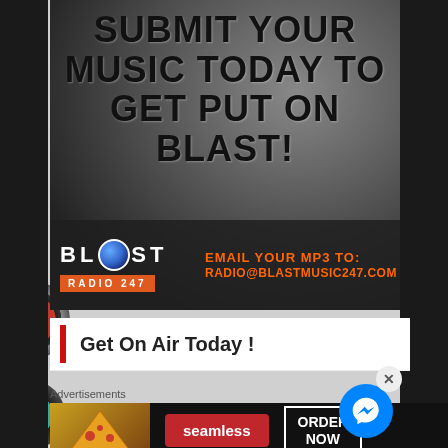[Figure (infographic): Blast Radio 247 advertisement banner. Dark blurred background with microphone. Bold black text: 'SUBMIT YOUR MUSIC TODAY TO GET PUT ON BLAST!' Bottom bar shows Blast Radio 247 logo and 'EMAIL YOUR MP3 TO: RADIO@BLASTMUSIC247.COM' in orange text.]
Get On Air Today !
[Figure (infographic): Seamless food delivery advertisement banner. Pizza image on left, red 'seamless' badge in center, 'ORDER NOW' button on right.]